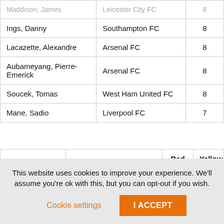| Maddison, James (partially visible) | Leicester City FC (partially visible) | 8 (partially visible) |
| Ings, Danny | Southampton FC | 8 |
| Lacazette, Alexandre | Arsenal FC | 8 |
| Aubameyang, Pierre-Emerick | Arsenal FC | 8 |
| Soucek, Tomas | West Ham United FC | 8 |
| Mane, Sadio | Liverpool FC | 7 |
| Player | Team | Red Cards | Yellow Cards |
| --- | --- | --- | --- |
| Bellerin, Hector (partially visible) | Arsenal FC | 0 | 8 |
This website uses cookies to improve your experience. We'll assume you're ok with this, but you can opt-out if you wish.